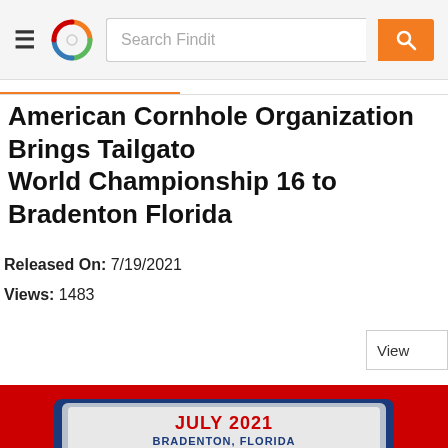Search Findit
American Cornhole Organization Brings Tailgato World Championship 16 to Bradenton Florida
Released On: 7/19/2021
Views: 1483
[Figure (photo): Event logo showing JULY 2021 BRADENTON, FLORIDA WORLDS text on red and blue background]